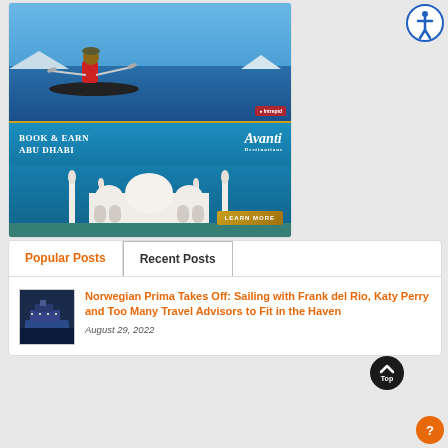[Figure (photo): Intrepid Travel ad: person kayaking in blue arctic waters with icebergs in background, Intrepid logo in red bottom right]
[Figure (photo): Avanti Destinations ad: Book & Earn Abu Dhabi, white mosque (Sheikh Zayed Grand Mosque) with blue sky, Avanti logo, Learn More button]
Popular Posts
Recent Posts
[Figure (photo): Small thumbnail of Norwegian Prima cruise ship at night]
Norwegian Prima Takes Off: Sailing with Frank del Rio, Katy Perry and Too Many Travel Advisors to Fit in the Haven
August 29, 2022